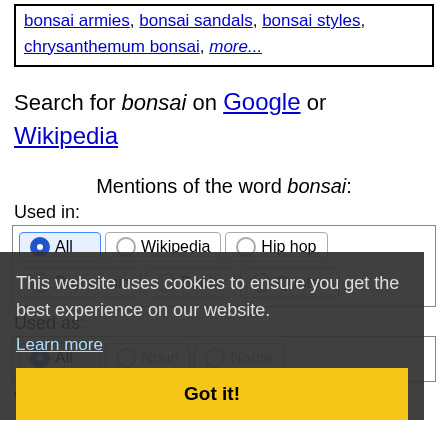bonsai armies, bonsai sandals, bonsai styles, chrysanthemum bonsai, more...
Search for bonsai on Google or Wikipedia
Mentions of the word bonsai:
Used in:
All  Wikipedia  Hip hop  Pop music  Books  Quotes
Used as:
All  Noun  Name
This website uses cookies to ensure you get the best experience on our website. Learn more Got it!
When you look back and see the branches, like a